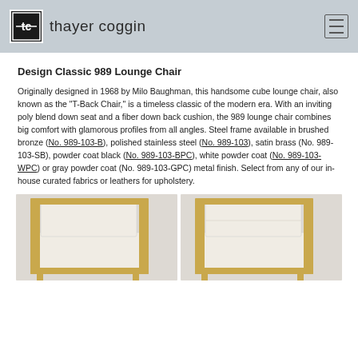thayer coggin
Design Classic 989 Lounge Chair
Originally designed in 1968 by Milo Baughman, this handsome cube lounge chair, also known as the "T-Back Chair," is a timeless classic of the modern era. With an inviting poly blend down seat and a fiber down back cushion, the 989 lounge chair combines big comfort with glamorous profiles from all angles. Steel frame available in brushed bronze (No. 989-103-B), polished stainless steel (No. 989-103), satin brass (No. 989-103-SB), powder coat black (No. 989-103-BPC), white powder coat (No. 989-103-WPC) or gray powder coat (No. 989-103-GPC) metal finish. Select from any of our in-house curated fabrics or leathers for upholstery.
[Figure (photo): Two lounge chairs upholstered in cream/off-white fabric with gold/brass metal frames, shown side by side at the bottom of the page.]